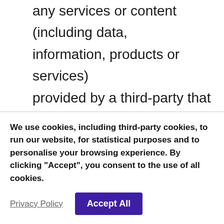any services or content (including data, information, products or services) provided by a third-party that may be displayed, included or made available by the Service.
Website refers to Stamp Free, accessible from www.stampfree.co.uk
You means the individual accessing or using the Service, or the company, or
We use cookies, including third-party cookies, to run our website, for statistical purposes and to personalise your browsing experience. By clicking “Accept”, you consent to the use of all cookies.
Privacy Policy
Accept All